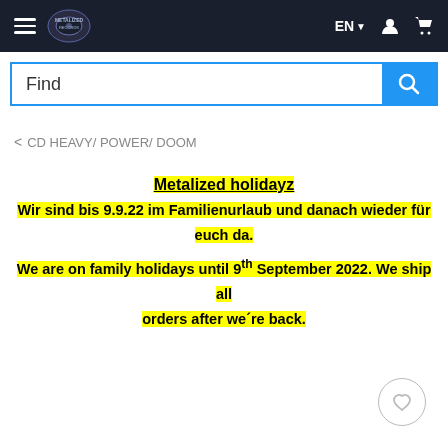Navigation bar with hamburger menu, logo, language selector EN, user icon, cart icon
Find (search bar)
< CD HEAVY/ POWER/ DOOM
Metalized holidayz
Wir sind bis 9.9.22 im Familienurlaub und danach wieder für euch da.
We are on family holidays until 9th September 2022. We ship all orders after we´re back.